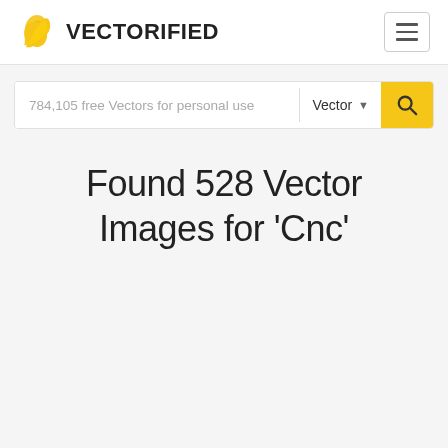VECTORIFIED
784,105 free Vectors for personal use
Found 528 Vector Images for 'Cnc'